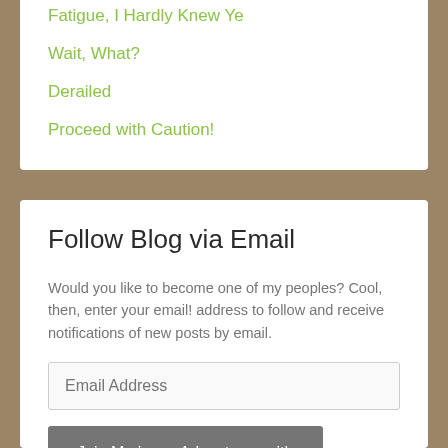Fatigue, I Hardly Knew Ye
Wait, What?
Derailed
Proceed with Caution!
Follow Blog via Email
Would you like to become one of my peoples? Cool, then, enter your email! address to follow and receive notifications of new posts by email.
Join 2,552 other followers